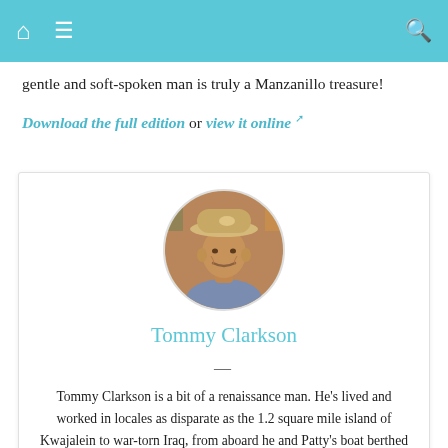Navigation bar with home, menu, and search icons
gentle and soft-spoken man is truly a Manzanillo treasure!
Download the full edition or view it online ↗
[Figure (photo): Circular portrait photo of Tommy Clarkson wearing a hat]
Tommy Clarkson
—
Tommy Clarkson is a bit of a renaissance man. He's lived and worked in locales as disparate as the 1.2 square mile island of Kwajalein to war-torn Iraq, from aboard he and Patty's boat berthed out of Sea Bright, NJ to Thailand, Germany, Hawaii and Viet Nam; He's taught classes and courses on creative writing and mass communications from the